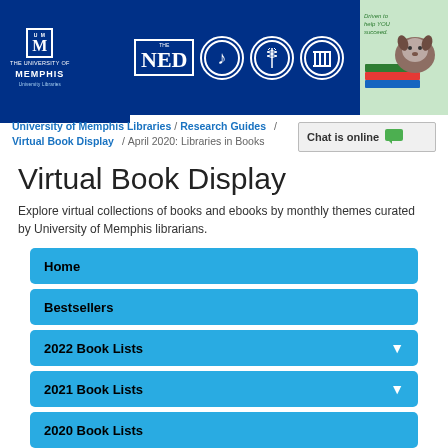[Figure (screenshot): University of Memphis Libraries header banner with logo, NED logo, music/medical/columns circle icons, and a dog reading books graphic with 'Driven to help YOU succeed.']
University of Memphis Libraries / Research Guides / Virtual Book Display / April 2020: Libraries in Books
Virtual Book Display
Explore virtual collections of books and ebooks by monthly themes curated by University of Memphis librarians.
Home
Bestsellers
2022 Book Lists
2021 Book Lists
2020 Book Lists
April 2020: Libraries in Books